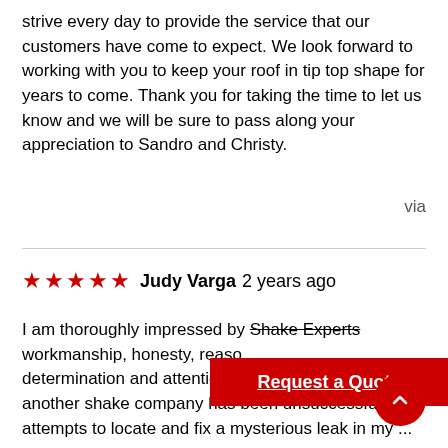strive every day to provide the service that our customers have come to expect. We look forward to working with you to keep your roof in tip top shape for years to come. Thank you for taking the time to let us know and we will be sure to pass along your appreciation to Sandro and Christy.
via
★★★★★ Judy Varga 2 years ago
I am thoroughly impressed by Shake Experts workmanship, honesty, reason... determination and attention to detail. Since 2015, another shake company has been unsuccessful in attempts to locate and fix a mysterious leak in my ...